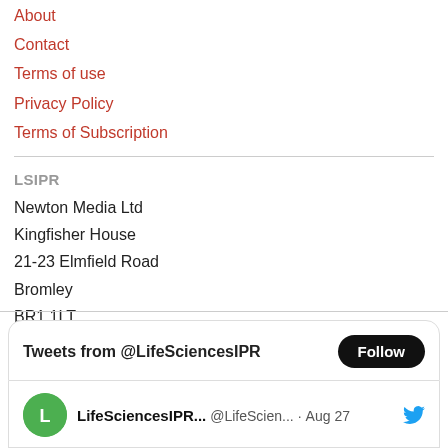About
Contact
Terms of use
Privacy Policy
Terms of Subscription
LSIPR
Newton Media Ltd
Kingfisher House
21-23 Elmfield Road
Bromley
BR1 1LT
United Kingdom
[Figure (screenshot): Twitter widget showing 'Tweets from @LifeSciencesIPR' with a Follow button and a tweet row showing LifeSciencesIPR... @LifeScien... · Aug 27 with a Twitter bird icon]